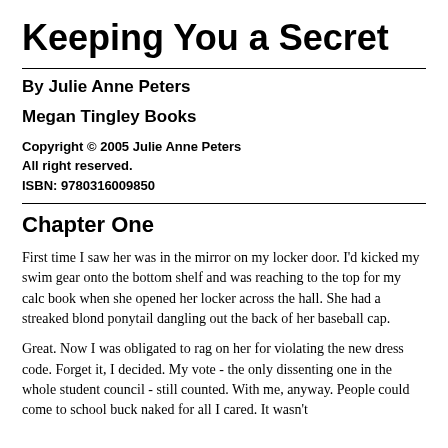Keeping You a Secret
By Julie Anne Peters
Megan Tingley Books
Copyright © 2005 Julie Anne Peters
All right reserved.
ISBN: 9780316009850
Chapter One
First time I saw her was in the mirror on my locker door. I'd kicked my swim gear onto the bottom shelf and was reaching to the top for my calc book when she opened her locker across the hall. She had a streaked blond ponytail dangling out the back of her baseball cap.
Great. Now I was obligated to rag on her for violating the new dress code. Forget it, I decided. My vote - the only dissenting one in the whole student council - still counted. With me, anyway. People could come to school buck naked for all I cared. It wasn't